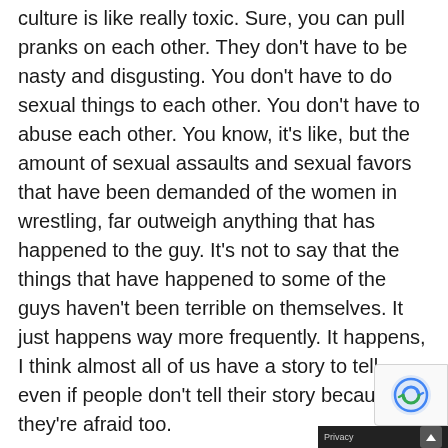culture is like really toxic. Sure, you can pull pranks on each other. They don't have to be nasty and disgusting. You don't have to do sexual things to each other. You don't have to abuse each other. You know, it's like, but the amount of sexual assaults and sexual favors that have been demanded of the women in wrestling, far outweigh anything that has happened to the guy. It's not to say that the things that have happened to some of the guys haven't been terrible on themselves. It just happens way more frequently. It happens, I think almost all of us have a story to tell, even if people don't tell their story because they're afraid too.
Rob: Wow, you touched on it perfectly. You know, say like obviously and I think we're seeing that jus...